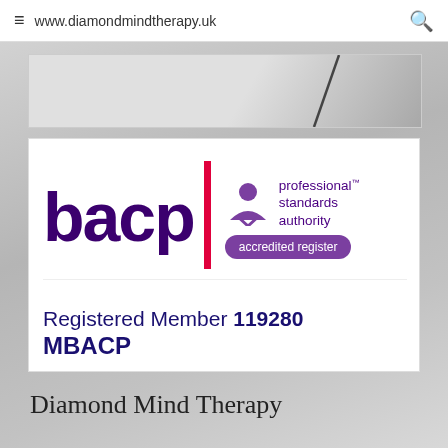www.diamondmindtherapy.uk
[Figure (screenshot): Partial photograph visible behind BACP badge card, showing a dark diagonal shape against a light background]
[Figure (logo): BACP (British Association for Counselling and Psychotherapy) registered member badge. Shows 'bacp' wordmark in dark purple, red vertical bar divider, Professional Standards Authority accredited register logo with purple figure icon, and text: Registered Member 119280 MBACP]
Diamond Mind Therapy